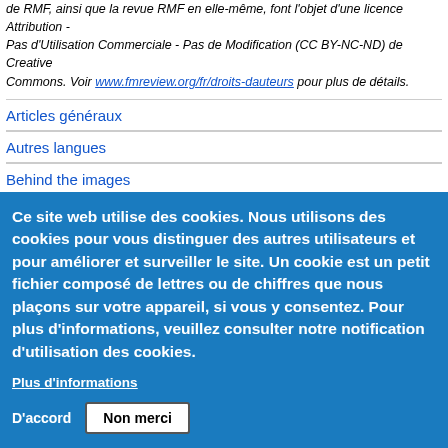de RMF, ainsi que la revue RMF en elle-même, font l'objet d'une licence Attribution - Pas d'Utilisation Commerciale - Pas de Modification (CC BY-NC-ND) de Creative Commons. Voir www.fmreview.org/fr/droits-dauteurs pour plus de détails.
Articles généraux
Autres langues
Behind the images
Droits d'auteurs
Ce site web utilise des cookies. Nous utilisons des cookies pour vous distinguer des autres utilisateurs et pour améliorer et surveiller le site. Un cookie est un petit fichier composé de lettres ou de chiffres que nous plaçons sur votre appareil, si vous y consentez. Pour plus d'informations, veuillez consulter notre notification d'utilisation des cookies.
Plus d'informations
D'accord  Non merci